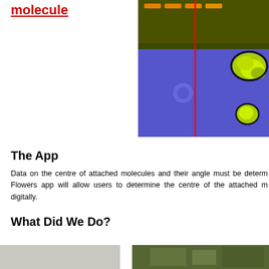molecule
[Figure (photo): Microscopy image showing a blue surface with yellow-green molecular clusters and a vertical red line indicating measurement]
The App
Data on the centre of attached molecules and their angle must be determined. The Flowers app will allow users to determine the centre of the attached molecule digitally.
What Did We Do?
[Figure (photo): Partial view of bottom image strip]